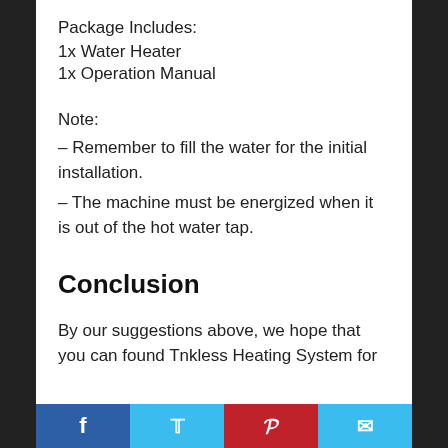Package Includes:
1x Water Heater
1x Operation Manual
Note:
– Remember to fill the water for the initial installation.
– The machine must be energized when it is out of the hot water tap.
Conclusion
By our suggestions above, we hope that you can found Tnkless Heating System for